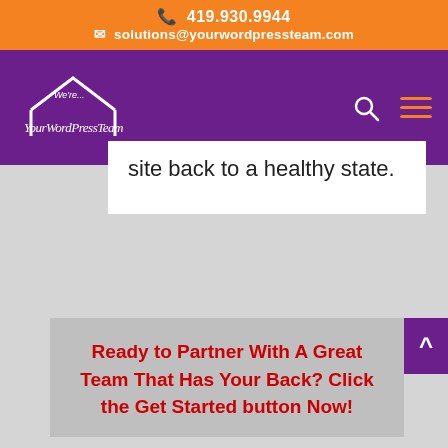📞 419.930.9944 ✉ solutions@yourwordpressteam.com
[Figure (logo): YourWordPressTeam logo with house/roof graphic and cursive text on purple navigation bar]
site back to a healthy state.
Ready to Partner With A Great Team That Has Your Back? Click the Get Started button Now!